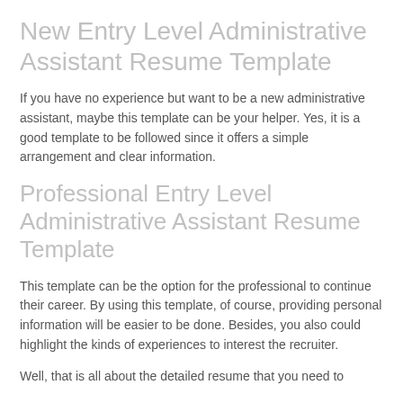New Entry Level Administrative Assistant Resume Template
If you have no experience but want to be a new administrative assistant, maybe this template can be your helper. Yes, it is a good template to be followed since it offers a simple arrangement and clear information.
Professional Entry Level Administrative Assistant Resume Template
This template can be the option for the professional to continue their career. By using this template, of course, providing personal information will be easier to be done. Besides, you also could highlight the kinds of experiences to interest the recruiter.
Well, that is all about the detailed resume that you need to